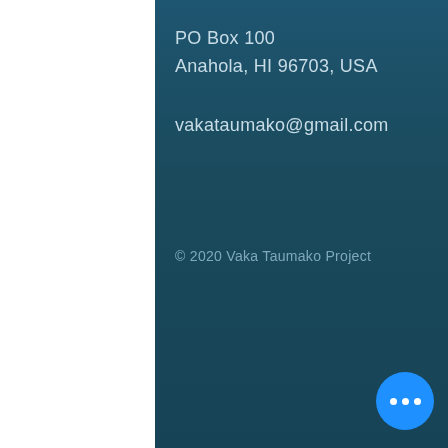PO Box 100
Anahola, HI 96703, USA
vakataumako@gmail.com
© 2020 Vaka Taumako Project